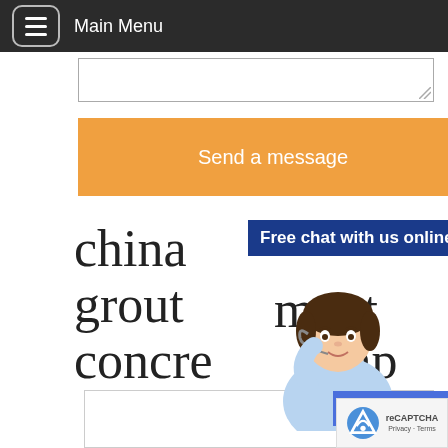Main Menu
[Figure (screenshot): Textarea input box with resize handle]
Send a message
china ... ment
grout ...
concre ... np
[Figure (infographic): Live chat widget overlay with customer service agent illustration, 'Free chat with us online' header, and 'CHAT NOW' button]
China Electric Pneumatic Cement Mortar
[Figure (logo): reCAPTCHA badge with Privacy - Terms text]